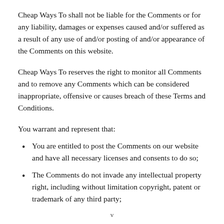Cheap Ways To shall not be liable for the Comments or for any liability, damages or expenses caused and/or suffered as a result of any use of and/or posting of and/or appearance of the Comments on this website.
Cheap Ways To reserves the right to monitor all Comments and to remove any Comments which can be considered inappropriate, offensive or causes breach of these Terms and Conditions.
You warrant and represent that:
You are entitled to post the Comments on our website and have all necessary licenses and consents to do so;
The Comments do not invade any intellectual property right, including without limitation copyright, patent or trademark of any third party;
v